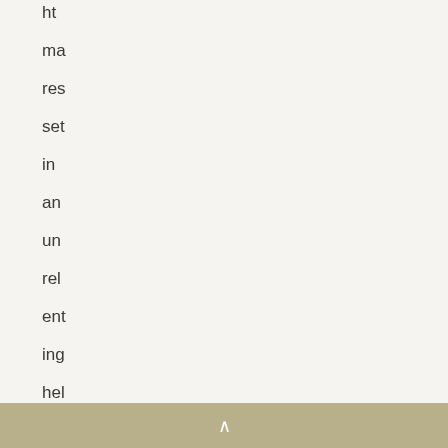ht ma res set in an un rel ent ing hel lsc ap e tha t
^